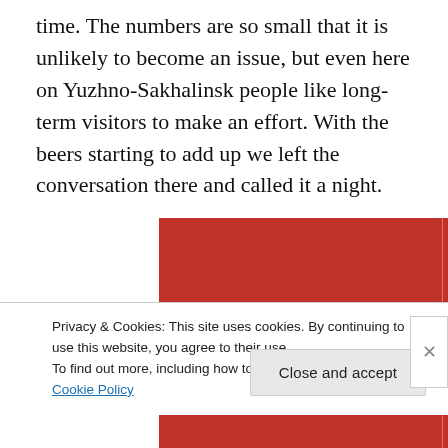time. The numbers are so small that it is unlikely to become an issue, but even here on Yuzhno-Sakhalinsk people like long-term visitors to make an effort. With the beers starting to add up we left the conversation there and called it a night.
[Figure (other): Red advertisement banner with white serif text reading 'The best stories on the web – ours, and everyone else's.' with a dark 'Start reading' button below.]
Privacy & Cookies: This site uses cookies. By continuing to use this website, you agree to their use.
To find out more, including how to control cookies, see here: Cookie Policy
Close and accept